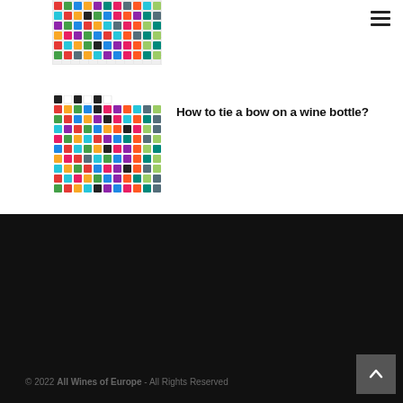[Figure (screenshot): Emoji grid / icon collection image (partially clipped at top of page)]
[Figure (screenshot): Emoji grid / icon collection image showing colorful icons in a grid]
How to tie a bow on a wine bottle?
[Figure (logo): All Wines of Europe grape cluster logo in dark grey on black background]
© 2022 All Wines of Europe - All Rights Reserved